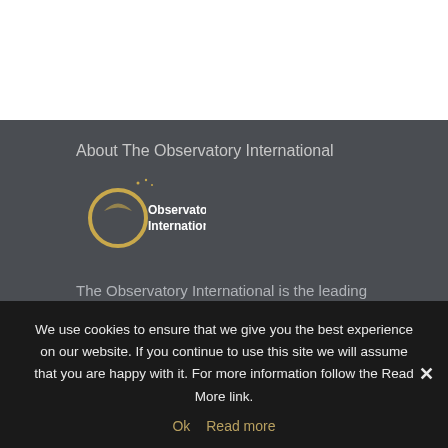About The Observatory International
[Figure (logo): Observatory International logo — golden circle with stars and white text 'Observatory International']
The Observatory International is the leading global management consultancy dedicated to helping companies transform their marketing and communications resources.
We use cookies to ensure that we give you the best experience on our website. If you continue to use this site we will assume that you are happy with it. For more information follow the Read More link.
Ok   Read more